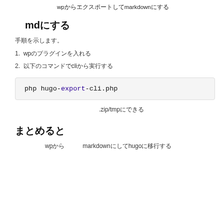wpからエクスポートしてmarkdownにする
mdにする
手順を示します。
1.　wpのプラグインを入れる
2. 以下のコマンドでcliから実行する
php hugo-export-cli.php
.zip/tmpにできる
まとめると
wpから　　　markdownにしてhugoに移行する